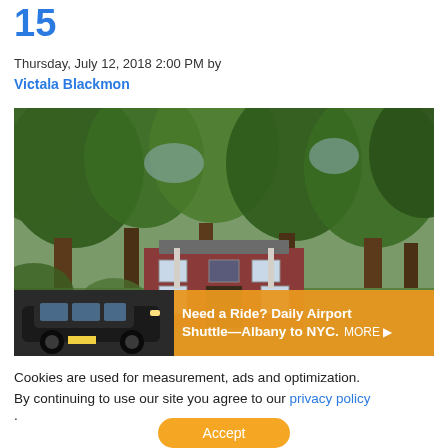15
Thursday, July 12, 2018 2:00 PM by
Victala Blackmon
[Figure (photo): Aerial/street-level photo of a brick house surrounded by large trees, with an advertisement overlay at the bottom showing a black SUV and text 'Need a Ride? Daily Airport Shuttle—Albany to NYC. MORE ▶']
Cookies are used for measurement, ads and optimization. By continuing to use our site you agree to our privacy policy .
Accept